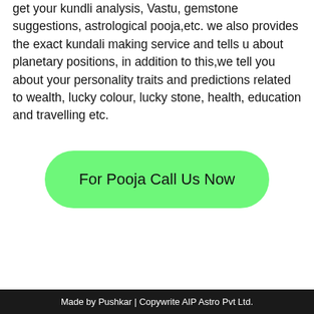get your kundli analysis, Vastu, gemstone suggestions, astrological pooja,etc. we also provides the exact kundali making service and tells u about planetary positions, in addition to this,we tell you about your personality traits and predictions related to wealth, lucky colour, lucky stone, health, education and travelling etc.
[Figure (other): Green rounded button with text 'For Pooja Call Us Now']
Made by Pushkar | Copywrite AIP Astro Pvt Ltd.